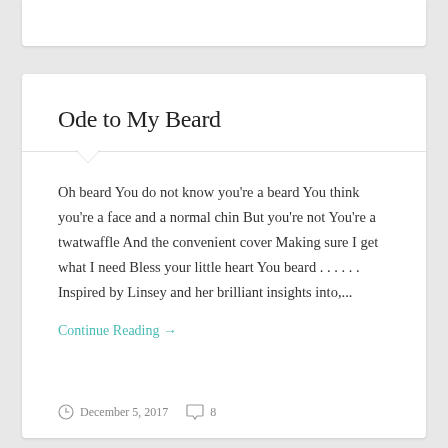Ode to My Beard
Oh beard You do not know you're a beard You think you're a face and a normal chin But you're not You're a twatwaffle And the convenient cover Making sure I get what I need Bless your little heart You beard . . . . . . Inspired by Linsey and her brilliant insights into,...
Continue Reading →
December 5, 2017   8